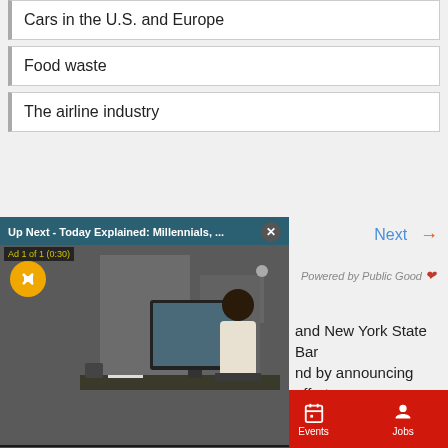Cars in the U.S. and Europe
Food waste
The airline industry
[Figure (screenshot): Video overlay showing 'Up Next - Today Explained: Millennials, ...' with a close button, Ad 1 of 1 (0:30) label, mute button, and a video still of a person sitting at a desk with a computer]
Next →
Powered by Public Good
and New York State Bar nd by announcing efforts to streamline the volunteer attorney network. What should guide
Sections   Contact   Home Pros   Events   Jobs